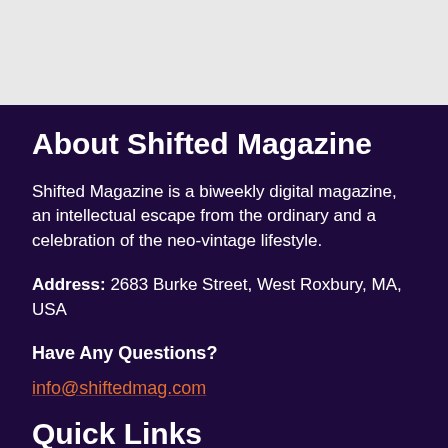About Shifted Magazine
Shifted Magazine is a biweekly digital magazine, an intellectual escape from the ordinary and a celebration of the neo-vintage lifestyle.
Address: 2683 Burke Street, West Roxbury, MA, USA
Have Any Questions?
info@shiftedmag.com
Quick Links